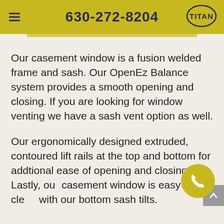630-272-8204
Our casement window is a fusion welded frame and sash. Our OpenEz Balance system provides a smooth opening and closing. If you are looking for window venting we have a sash vent option as well.
Our ergonomically designed extruded, contoured lift rails at the top and bottom for addtional ease of opening and closing. Lastly, our casement window is easy to clean with our bottom sash tilts.